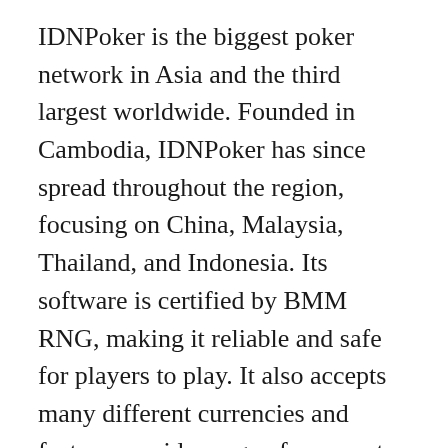IDNPoker is the biggest poker network in Asia and the third largest worldwide. Founded in Cambodia, IDNPoker has since spread throughout the region, focusing on China, Malaysia, Thailand, and Indonesia. Its software is certified by BMM RNG, making it reliable and safe for players to play. It also accepts many different currencies and features a wide range of payment options. And, unlike traditional casinos, IDNPoker does not charge players for the use of their services.
The IDN poker app allows you to play on any computer and has millions of users worldwide. It is completely legal and is approved by BMM Testlabs and the PAGCOR. It can even be